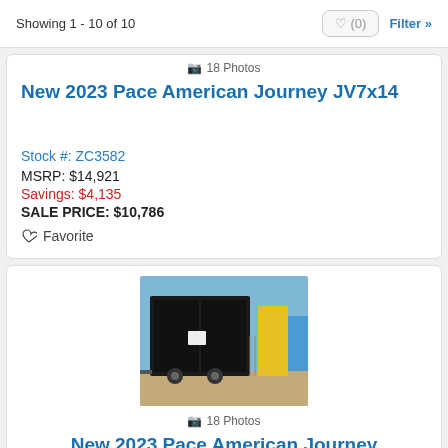Showing 1 - 10 of 10
18 Photos
New 2023 Pace American Journey JV7x14
Stock #: ZC3582
MSRP: $14,921
Savings: $4,135
SALE PRICE: $10,786
Favorite
[Figure (photo): Black enclosed cargo trailer parked outdoors on gravel lot with blue sky background]
18 Photos
New 2023 Pace American Journey